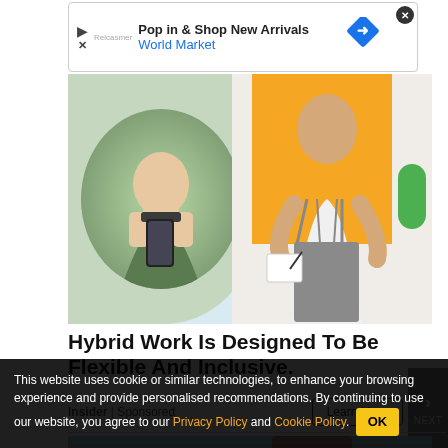[Figure (other): Advertisement banner for World Market: Pop in & Shop New Arrivals]
[Figure (photo): Two-panel hero image: woman looking at phone on left, man in apron writing on right, with orange and blue backgrounds]
Hybrid Work Is Designed To Be Flexible And Inclusive.
Insider | Sponsored
[Figure (photo): Worker installing or repairing something on house exterior siding, partially visible]
This website uses cookie or similar technologies, to enhance your browsing experience and provide personalised recommendations. By continuing to use our website, you agree to our Privacy Policy and Cookie Policy.